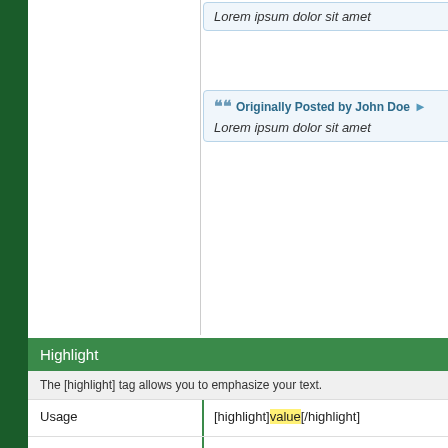Lorem ipsum dolor sit amet
Originally Posted by John Doe
Lorem ipsum dolor sit amet
Highlight
The [highlight] tag allows you to emphasize your text.
Usage
[highlight]value[/highlight]
Example Usage
[highlight]this text is highlighted[/highlight]
Example Output
this text is highlighted
Stop BB Code Parsing
The [noparse] tag allows you to stop the parsing of BB code.
Usage
[noparse][b]value[/b][/noparse]
Example Usage
[noparse][b]Lorem ipsum dolor sit amet[/...